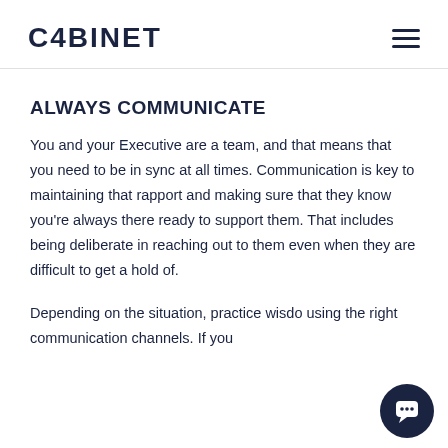CABINET
ALWAYS COMMUNICATE
You and your Executive are a team, and that means that you need to be in sync at all times. Communication is key to maintaining that rapport and making sure that they know you’re always there ready to support them. That includes being deliberate in reaching out to them even when they are difficult to get a hold of.
Depending on the situation, practice wisdo using the right communication channels. If you